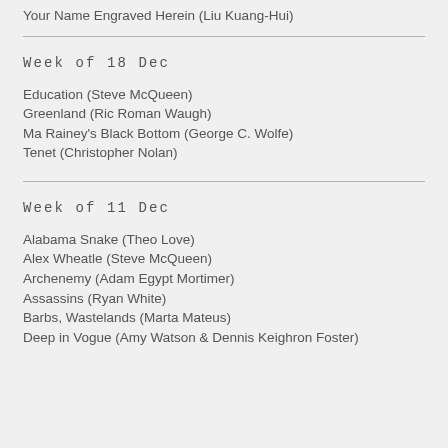Your Name Engraved Herein (Liu Kuang-Hui)
Week of 18 Dec
Education (Steve McQueen)
Greenland (Ric Roman Waugh)
Ma Rainey's Black Bottom (George C. Wolfe)
Tenet (Christopher Nolan)
Week of 11 Dec
Alabama Snake (Theo Love)
Alex Wheatle (Steve McQueen)
Archenemy (Adam Egypt Mortimer)
Assassins (Ryan White)
Barbs, Wastelands (Marta Mateus)
Deep in Vogue (Amy Watson & Dennis Keighron Foster)